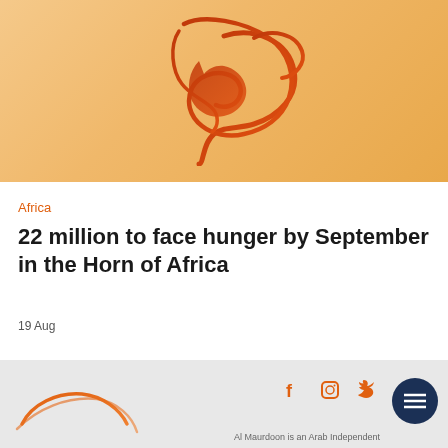[Figure (logo): Arabic calligraphic logo in orange/red gradient on peach/orange gradient background]
Africa
22 million to face hunger by September in the Horn of Africa
19 Aug
[Figure (logo): Footer area with Al Maurdoon logo, social media icons (Facebook, Instagram, Twitter), and hamburger menu button. Text: Al Maurdoon is an Arab Independent]